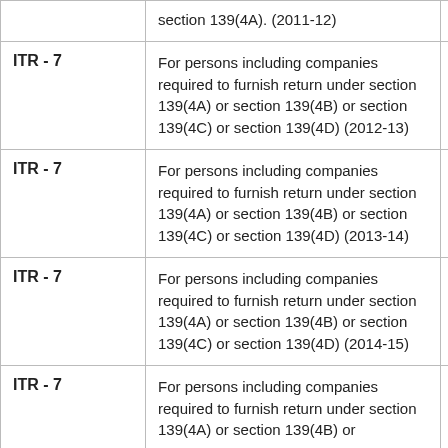| Form | Description | Download |
| --- | --- | --- |
|  | section 139(4A). (2011-12) |  |
| ITR - 7 | For persons including companies required to furnish return under section 139(4A) or section 139(4B) or section 139(4C) or section 139(4D) (2012-13) | [PDF icon] |
| ITR - 7 | For persons including companies required to furnish return under section 139(4A) or section 139(4B) or section 139(4C) or section 139(4D) (2013-14) | [PDF icon] |
| ITR - 7 | For persons including companies required to furnish return under section 139(4A) or section 139(4B) or section 139(4C) or section 139(4D) (2014-15) | [PDF icon] |
| ITR - 7 | For persons including companies required to furnish return under section 139(4A) or section 139(4B) or | [PDF icon] |